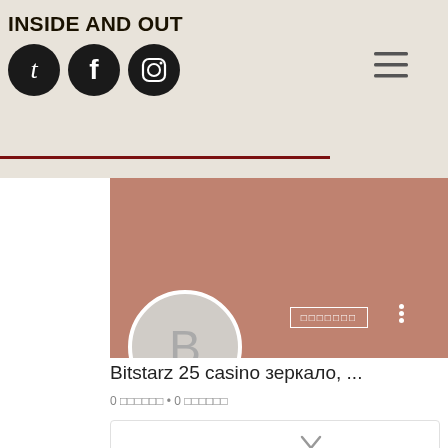INSIDE AND OUT
[Figure (screenshot): Social media profile page screenshot showing header with site title 'INSIDE AND OUT', social media icons (Tumblr, Facebook, Instagram), hamburger menu, a mauve/terracotta cover banner, a gray avatar circle with letter B, profile name 'Bitstarz 25 casino зеркало, ...', stats showing '0 подписок • 0 подписок', a content card with chevron, and bottom share bar with email, Facebook, Instagram, Twitter, and LINE icons.]